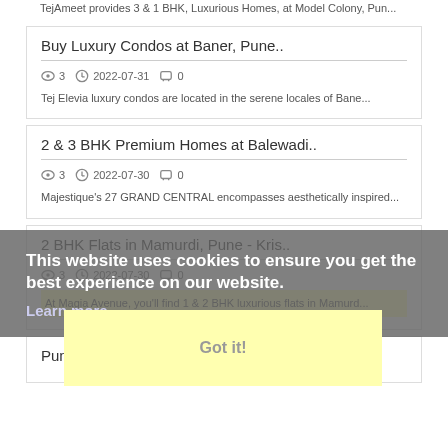TejAmeet provides 3 & 1 BHK, Luxurious Homes, at Model Colony, Pun...
Buy Luxury Condos at Baner, Pune..
3  2022-07-31  0
Tej Elevia luxury condos are located in the serene locales of Bane...
2 & 3 BHK Premium Homes at Balewadi..
3  2022-07-30  0
Majestique's 27 GRAND CENTRAL encompasses aesthetically inspired...
2 BHK Flats in Mamurdi, Pune - Kris..
3  2022-07-30  0
At Magia Avenue, you'll find 1 & 2 BHK luxurious flats in Mamurd...
Pune among the Top 3 Cities for rea..
This website uses cookies to ensure you get the best experience on our website.
Learn more
Got it!